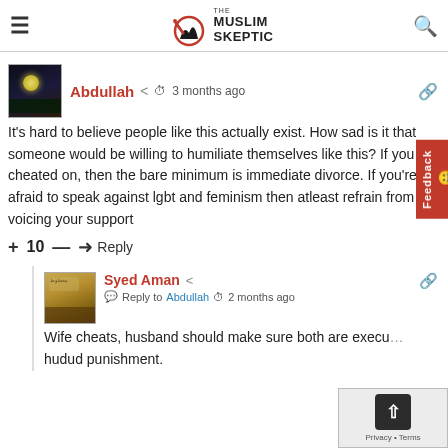The Muslim Skeptic
Abdullah  3 months ago
It's hard to believe people like this actually exist. How sad is it that someone would be willing to humiliate themselves like this? If you get cheated on, then the bare minimum is immediate divorce. If you're afraid to speak against lgbt and feminism then atleast refrain from voicing your support
+ 10 —  Reply
Syed Aman  Reply to Abdullah  2 months ago
Wife cheats, husband should make sure both are executed as hudud punishment.